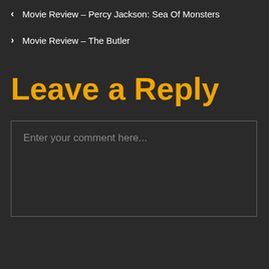< Movie Review – Percy Jackson: Sea Of Monsters
> Movie Review – The Butler
Leave a Reply
Enter your comment here...